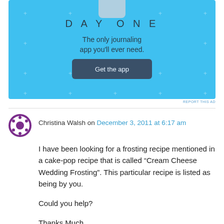[Figure (screenshot): Day One journaling app advertisement banner on light blue background with app icon, title 'DAY ONE', subtitle 'The only journaling app you'll ever need.', and a 'Get the app' button]
REPORT THIS AD
Christina Walsh on December 3, 2011 at 6:17 am
I have been looking for a frosting recipe mentioned in a cake-pop recipe that is called “Cream Cheese Wedding Frosting”. This particular recipe is listed as being by you.

Could you help?

Thanks Much,
Chris Walsh